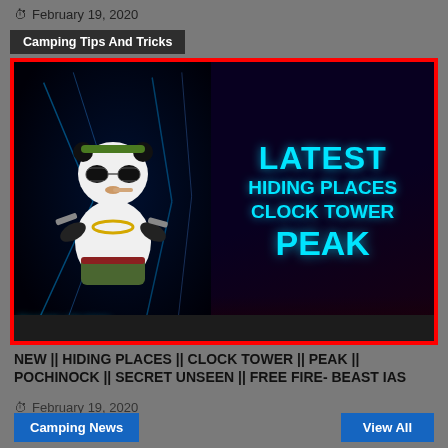February 19, 2020
[Figure (screenshot): Gaming video thumbnail showing a panda character with sunglasses and weapons on the left, and cyan bold text reading 'LATEST HIDING PLACES CLOCK TOWER PEAK' on a dark background on the right, with red border, and 'RANK PUSH' text at the bottom left. Tag overlay reads 'Camping Tips And Tricks'.]
NEW || HIDING PLACES || CLOCK TOWER || PEAK || POCHINOCK || SECRET UNSEEN || FREE FIRE- BEAST IAS
February 19, 2020
Camping News
View All